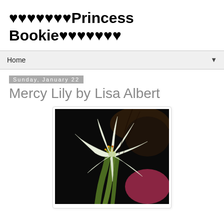♥♥♥♥♥♥♥Princess Bookie♥♥♥♥♥♥♥
Home
Sunday, January 22
Mercy Lily by Lisa Albert
[Figure (photo): A white lily flower in bloom against a dark background with a person's hair and pink clothing partially visible behind it. The lily has yellow-orange stamens and green stems.]